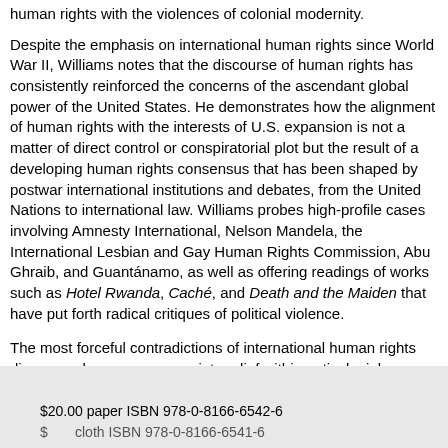human rights with the violences of colonial modernity.
Despite the emphasis on international human rights since World War II, Williams notes that the discourse of human rights has consistently reinforced the concerns of the ascendant global power of the United States. He demonstrates how the alignment of human rights with the interests of U.S. expansion is not a matter of direct control or conspiratorial plot but the result of a developing human rights consensus that has been shaped by postwar international institutions and debates, from the United Nations to international law. Williams probes high-profile cases involving Amnesty International, Nelson Mandela, the International Lesbian and Gay Human Rights Commission, Abu Ghraib, and Guantánamo, as well as offering readings of works such as Hotel Rwanda, Caché, and Death and the Maiden that have put forth radical critiques of political violence.
The most forceful contradictions of international human rights discourse, he argues, come into relief within anticolonial critiques of racial violence. To this end, The Divided World examines how a human rights–based international policy is ultimately mobilized to manage violence—by limiting the access of its victims to justice.
$20.00 paper ISBN 978-0-8166-6542-6